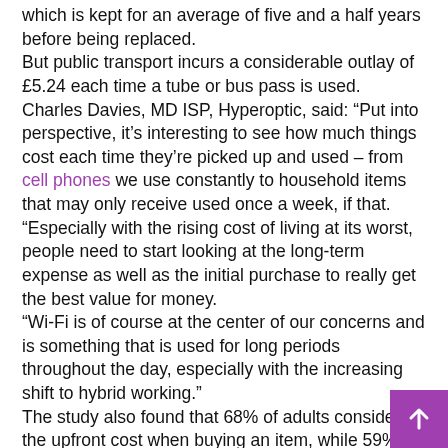which is kept for an average of five and a half years before being replaced.
But public transport incurs a considerable outlay of £5.24 each time a tube or bus pass is used.
Charles Davies, MD ISP, Hyperoptic, said: “Put into perspective, it’s interesting to see how much things cost each time they’re picked up and used – from cell phones we use constantly to household items that may only receive used once a week, if that.
“Especially with the rising cost of living at its worst, people need to start looking at the long-term expense as well as the initial purchase to really get the best value for money.
“Wi-Fi is of course at the center of our concerns and is something that is used for long periods throughout the day, especially with the increasing shift to hybrid working.”
The study also found that 68% of adults consider the upfront cost when buying an item, while 59% think about long-term expenses.
More than two-thirds also consider a product’s lifespan when buying it, and 46% are happy to spend more on a product they’ll